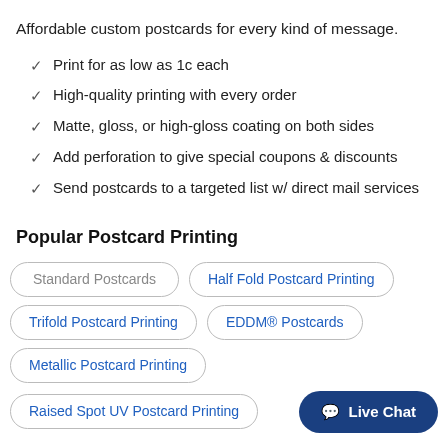Affordable custom postcards for every kind of message.
Print for as low as 1c each
High-quality printing with every order
Matte, gloss, or high-gloss coating on both sides
Add perforation to give special coupons & discounts
Send postcards to a targeted list w/ direct mail services
Popular Postcard Printing
Standard Postcards
Half Fold Postcard Printing
Trifold Postcard Printing
EDDM® Postcards
Metallic Postcard Printing
Raised Spot UV Postcard Printing
Live Chat